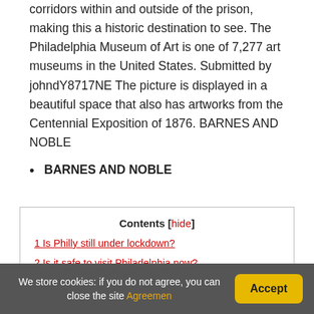corridors within and outside of the prison, making this a historic destination to see. The Philadelphia Museum of Art is one of 7,277 art museums in the United States. Submitted by johndY8717NE The picture is displayed in a beautiful space that also has artworks from the Centennial Exposition of 1876. BARNES AND NOBLE
BARNES AND NOBLE
| Contents [hide] |
| 1 Is Philly still under lockdown? |
| 2 Is it safe to visit Philadelphia now? |
| 3 Is Penn's Landing open today? |
We store cookies: if you do not agree, you can close the site Agreemen